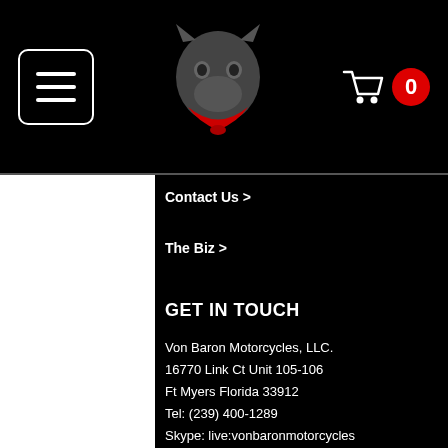Navigation header with hamburger menu, Von Baron Motorcycles logo, and cart icon showing 0 items
Contact Us >
The Biz >
GET IN TOUCH
Von Baron Motorcycles, LLC.
16770 Link Ct Unit 105-106
Ft Myers Florida 33912
Tel: (239) 400-1289
Skype: live:vonbaronmotorcycles
SECURED SHOPPING BY
[Figure (logo): PayPal logo with blue P circle icon and PayPal wordmark in blue]